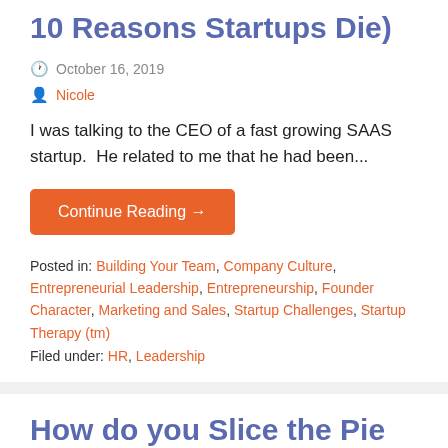10 Reasons Startups Die)
October 16, 2019
Nicole
I was talking to the CEO of a fast growing SAAS startup.  He related to me that he had been...
Continue Reading →
Posted in: Building Your Team, Company Culture, Entrepreneurial Leadership, Entrepreneurship, Founder Character, Marketing and Sales, Startup Challenges, Startup Therapy (tm)
Filed under: HR, Leadership
How do you Slice the Pie as